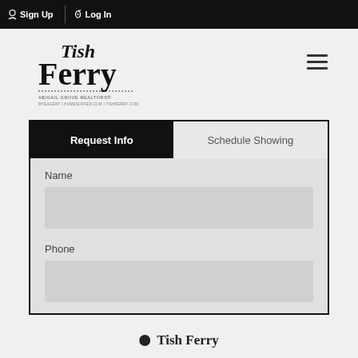Sign Up   Log In
[Figure (logo): Tish Ferry real estate agent logo with stylized script text and dotted underline]
Request Info
Schedule Showing
Name
Phone
Tish Ferry